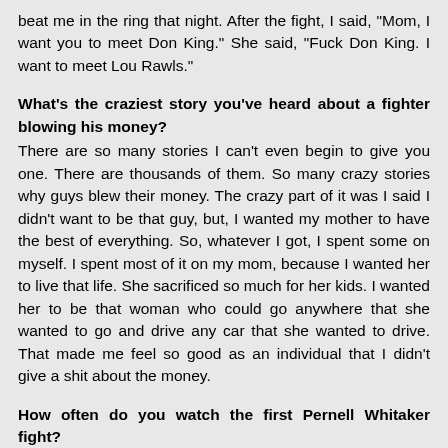beat me in the ring that night. After the fight, I said, "Mom, I want you to meet Don King." She said, "Fuck Don King. I want to meet Lou Rawls."
What's the craziest story you've heard about a fighter blowing his money?
There are so many stories I can't even begin to give you one. There are thousands of them. So many crazy stories why guys blew their money. The crazy part of it was I said I didn't want to be that guy, but, I wanted my mother to have the best of everything. So, whatever I got, I spent some on myself. I spent most of it on my mom, because I wanted her to live that life. She sacrificed so much for her kids. I wanted her to be that woman who could go anywhere that she wanted to go and drive any car that she wanted to drive. That made me feel so good as an individual that I didn't give a shit about the money.
How often do you watch the first Pernell Whitaker fight?
Honestly I don't. It was a funky situation for me. I know for certain if I was told the truth about my shoulder, I would have beat him. I would say that Pernell was on point that night. Plus, he had Georgie Benton in his corner.
At times it killed me, but now it doesn't bother me. It helped